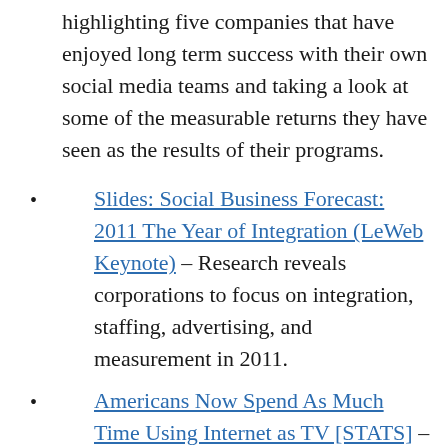highlighting five companies that have enjoyed long term success with their own social media teams and taking a look at some of the measurable returns they have seen as the results of their programs.
Slides: Social Business Forecast: 2011 The Year of Integration (LeWeb Keynote) – Research reveals corporations to focus on integration, staffing, advertising, and measurement in 2011.
Americans Now Spend As Much Time Using Internet as TV [STATS] – The average American now spends roughly 13 hours per week using the Internet and watching TV offline.
How Much Is a Tweet Worth? $500, Says